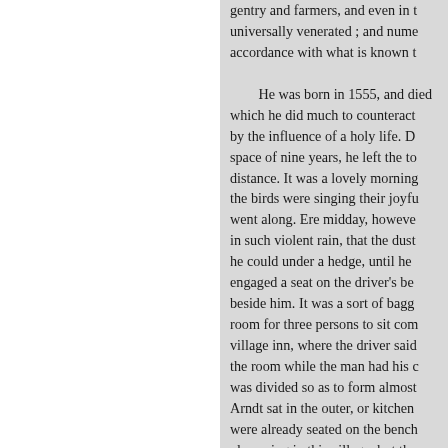gentry and farmers, and even in t universally venerated ; and nume accordance with what is known t

He was born in 1555, and died which he did much to counteract by the influence of a holy life. D space of nine years, he left the to distance. It was a lovely morning the birds were singing their joyfu went along. Ere midday, howeve in such violent rain, that the dust he could under a hedge, until he engaged a seat on the driver's be beside him. It was a sort of bagg room for three persons to sit com village inn, where the driver said the room while the man had his c was divided so as to form almost Arndt sat in the outer, or kitchen were already seated on the bench pleasuring in this village; but the and meadows, as they had hoped when the carrier sat down to his